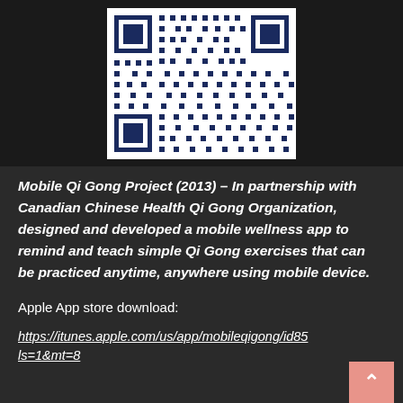[Figure (other): QR code image in blue and white on dark background, linking to mobile Qi Gong app download]
Mobile Qi Gong Project (2013) – In partnership with Canadian Chinese Health Qi Gong Organization, designed and developed a mobile wellness app to remind and teach simple Qi Gong exercises that can be practiced anytime, anywhere using mobile device.
Apple App store download:
https://itunes.apple.com/us/app/mobileqigong/id85...ls=1&mt=8